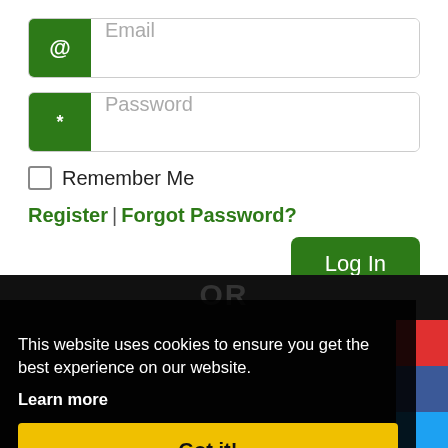[Figure (screenshot): Email input field with green @ icon on left and placeholder text 'Email']
[Figure (screenshot): Password input field with green * icon on left and placeholder text 'Password']
Remember Me
Register | Forgot Password?
[Figure (screenshot): Green 'Log In' button on right side]
OR
This website uses cookies to ensure you get the best experience on our website.
Learn more
Got it!